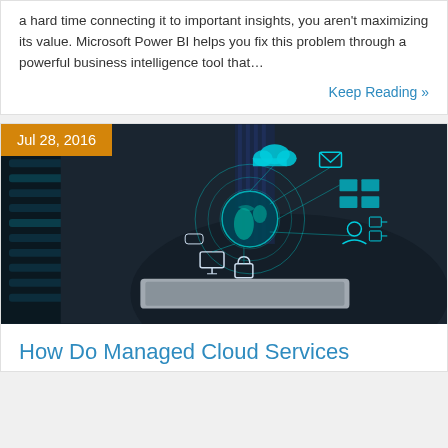a hard time connecting it to important insights, you aren't maximizing its value. Microsoft Power BI helps you fix this problem through a powerful business intelligence tool that…
Keep Reading »
[Figure (photo): A businessman in a suit holding a tablet with glowing digital icons including a globe, cloud, lock, and connected devices floating above it, representing managed cloud services.]
Jul 28, 2016
How Do Managed Cloud Services